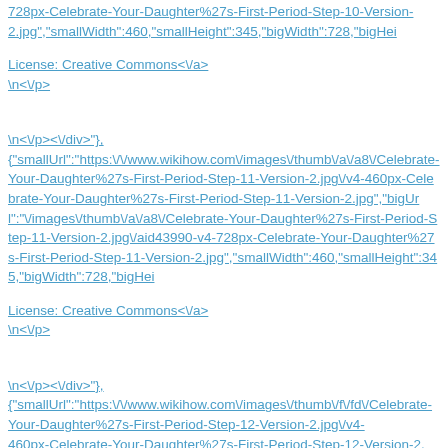728px-Celebrate-Your-Daughter%27s-First-Period-Step-10-Version-2.jpg","smallWidth":460,"smallHeight":345,"bigWidth":728,"bigHei
License: Creative Commons<\/a>
\n<\/p>
\n<\/p><\/div>"},
{"smallUrl":"https:\/\/www.wikihow.com\/images\/thumb\/a\/a8\/Celebrate-Your-Daughter%27s-First-Period-Step-11-Version-2.jpg\/v4-460px-Celebrate-Your-Daughter%27s-First-Period-Step-11-Version-2.jpg","bigUrl":"\/images\/thumb\/a\/a8\/Celebrate-Your-Daughter%27s-First-Period-Step-11-Version-2.jpg\/aid43990-v4-728px-Celebrate-Your-Daughter%27s-First-Period-Step-11-Version-2.jpg","smallWidth":460,"smallHeight":345,"bigWidth":728,"bigHei
License: Creative Commons<\/a>
\n<\/p>
\n<\/p><\/div>"},
{"smallUrl":"https:\/\/www.wikihow.com\/images\/thumb\/f\/fd\/Celebrate-Your-Daughter%27s-First-Period-Step-12-Version-2.jpg\/v4-460px-Celebrate-Your-Daughter%27s-First-Period-Step-12-Version-